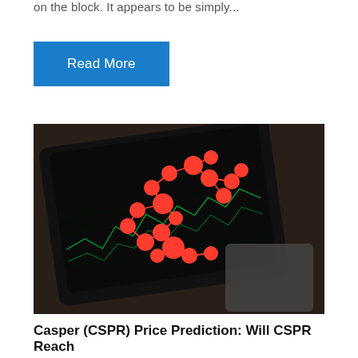on the block. It appears to be simply...
Read More
[Figure (photo): A dark tablet device on a wooden surface displaying a green stock chart, overlaid with a network graph visualization made of red/orange nodes and connecting lines.]
Casper (CSPR) Price Prediction: Will CSPR Reach